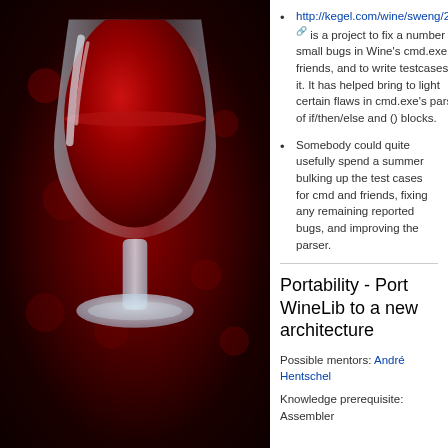[Figure (illustration): Wine glass with red wine logo on dark red background, left panel of page]
http://kegel.com/wine/sweng/2010/ is a project to fix a number of small bugs in Wine's cmd.exe and friends, and to write testcases for it. It has helped bring to light certain flaws in cmd.exe's parsing of if/then/else and () blocks.
Somebody could quite usefully spend a summer bulking up the test cases for cmd and friends, fixing any remaining reported bugs, and improving the parser.
Portability - Port WineLib to a new architecture
Possible mentors: André Hentschel
Knowledge prerequisite: Assembler